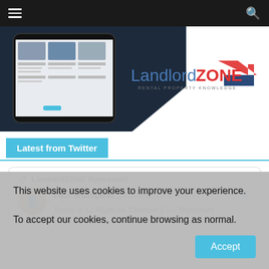Navigation bar with hamburger menu and search icon
[Figure (screenshot): LandlordZONE website hero banner with mobile phone mockup showing news articles, dark navy triangle background, and LandlordZONE logo with 'RENTAL PROPERTY KNOWLEDGE' tagline]
Latest from Twitter
LandlordZONE Retweeted
Paul Shamplina @PaulShamplina · Aug 26
Today at 12.45pm on Channel 5 on 'Nightmare
This website uses cookies to improve your experience.

To accept our cookies, continue browsing as normal.